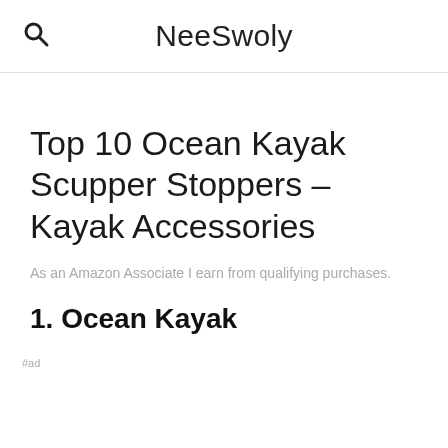NeeSwoly
Top 10 Ocean Kayak Scupper Stoppers – Kayak Accessories
As an Amazon Associate I earn from qualifying purchases.
1. Ocean Kayak
As an Amazon Associate I earn from qualifying purchases. This website uses the only necessary cookies to ensure you get the best experience on our website. More information